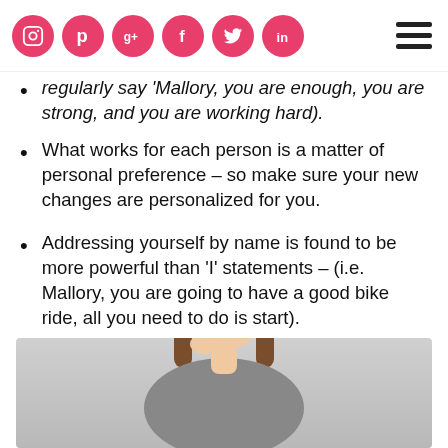Social media icons (Instagram, Pinterest, Google+, Facebook, Twitter, LinkedIn) and hamburger menu
regularly say 'Mallory, you are enough, you are strong, and you are working hard).
What works for each person is a matter of personal preference – so make sure your new changes are personalized for you.
Addressing yourself by name is found to be more powerful than 'I' statements – (i.e. Mallory, you are going to have a good bike ride, all you need to do is start).
Negative Self-Talk Personalities
[Figure (photo): A young woman with brown hair looking upward thoughtfully, photographed against a grey background.]